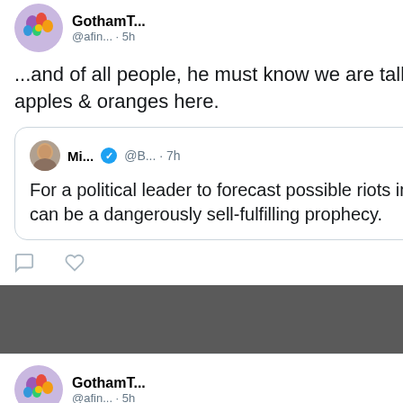[Figure (screenshot): Twitter/social media screenshot showing two tweets. First tweet from GothamT... @afin... 5h: '...and of all people, he must know we are talking about apples & oranges here.' with a quoted tweet from Mi... @B... 7h: 'For a political leader to forecast possible riots in streets can be a dangerously sell-fulfilling prophecy.' Second tweet from GothamT... @afin... 5h: 'So, how much has changed? #NinaYankowitz at #EricFirestoneGallery in']